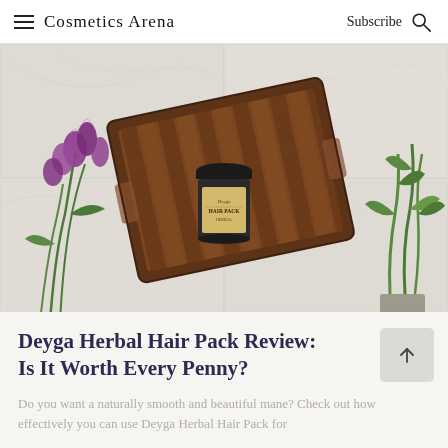Cosmetics Arena  Subscribe
[Figure (photo): Top-down view of a wooden slatted tray on a marble surface with a jar of Deyga Hair Pack inside, purple tulips on the left, and green bamboo-like plant on the right.]
Deyga Herbal Hair Pack Review: Is It Worth Every Penny?
Do you want a naturally smooth and beautiful mane? Check out how effectively you can use Deyga Herbal Hair Pack for